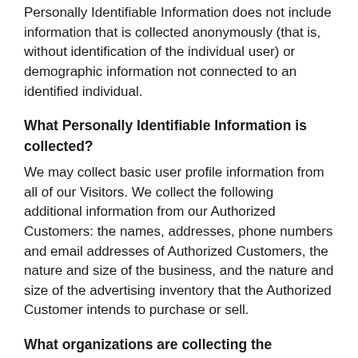Personally Identifiable Information does not include information that is collected anonymously (that is, without identification of the individual user) or demographic information not connected to an identified individual.
What Personally Identifiable Information is collected?
We may collect basic user profile information from all of our Visitors. We collect the following additional information from our Authorized Customers: the names, addresses, phone numbers and email addresses of Authorized Customers, the nature and size of the business, and the nature and size of the advertising inventory that the Authorized Customer intends to purchase or sell.
What organizations are collecting the information?
In addition to our direct collection of information, our third party service vendors (such as credit card companies, clearinghouses and banks) who may provide such services as credit, insurance, and escrow services may collect this information from our Visitors and Authorized Customers. We